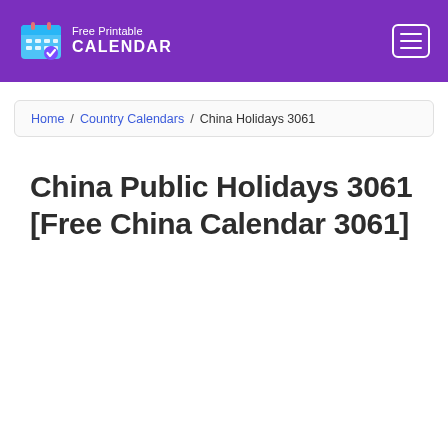[Figure (logo): Free Printable Calendar logo with calendar icon and text on purple header background]
Home / Country Calendars / China Holidays 3061
China Public Holidays 3061 [Free China Calendar 3061]